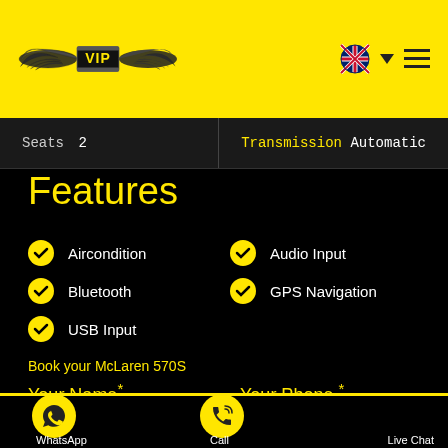[Figure (logo): VIP car rental logo with wings on yellow background, with UK flag dropdown and hamburger menu icon]
| Spec | Value | Spec | Value |
| --- | --- | --- | --- |
| Seats | 2 | Transmission | Automatic |
Features
Aircondition
Audio Input
Bluetooth
GPS Navigation
USB Input
Book your McLaren 570S
Your Name*
Your Phone *
WhatsApp   Call   Live Chat